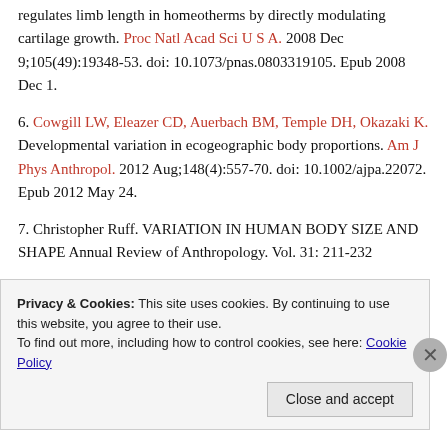regulates limb length in homeotherms by directly modulating cartilage growth. Proc Natl Acad Sci U S A. 2008 Dec 9;105(49):19348-53. doi: 10.1073/pnas.0803319105. Epub 2008 Dec 1.
6. Cowgill LW, Eleazer CD, Auerbach BM, Temple DH, Okazaki K. Developmental variation in ecogeographic body proportions. Am J Phys Anthropol. 2012 Aug;148(4):557-70. doi: 10.1002/ajpa.22072. Epub 2012 May 24.
7. Christopher Ruff. VARIATION IN HUMAN BODY SIZE AND SHAPE Annual Review of Anthropology. Vol. 31: 211-232
Privacy & Cookies: This site uses cookies. By continuing to use this website, you agree to their use. To find out more, including how to control cookies, see here: Cookie Policy